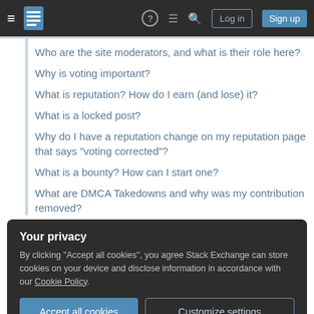Stack Exchange navigation bar with hamburger menu, logo, help, chat, search icons, Log in and Sign up buttons
Who are the site moderators, and what is their role here?
Why is voting important?
What is reputation? How do I earn (and lose) it?
What is a locked post?
Why do I have a reputation change on my reputation page that says "voting corrected"?
What is a bounty? How can I start one?
What are DMCA Takedowns and why was my contribution removed?
Your privacy
By clicking "Accept all cookies", you agree Stack Exchange can store cookies on your device and disclose information in accordance with our Cookie Policy.
Accept all cookies   Customize settings
Answering